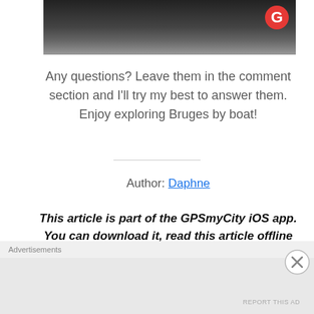[Figure (photo): Dark image of a waterway or bridge, partially visible at top of page with a red G logo in the upper right corner]
Any questions? Leave them in the comment section and I'll try my best to answer them. Enjoy exploring Bruges by boat!
Author: Daphne
This article is part of the GPSmyCity iOS app. You can download it, read this article offline and obtain travel directions (by foot, car or bicycle) to the places mentioned in this article. Click here to download it.
Advertisements